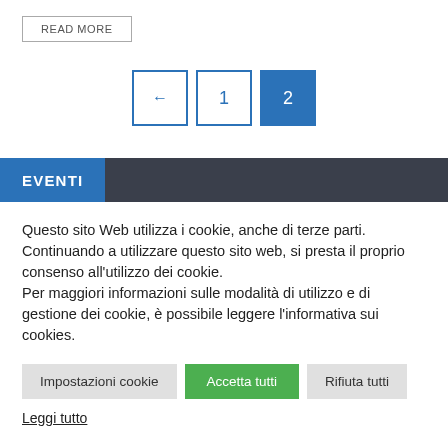READ MORE
[Figure (other): Pagination controls: left arrow, page 1, page 2 (active/highlighted)]
EVENTI
Questo sito Web utilizza i cookie, anche di terze parti. Continuando a utilizzare questo sito web, si presta il proprio consenso all'utilizzo dei cookie. Per maggiori informazioni sulle modalità di utilizzo e di gestione dei cookie, è possibile leggere l'informativa sui cookies.
Impostazioni cookie | Accetta tutti | Rifiuta tutti
Leggi tutto